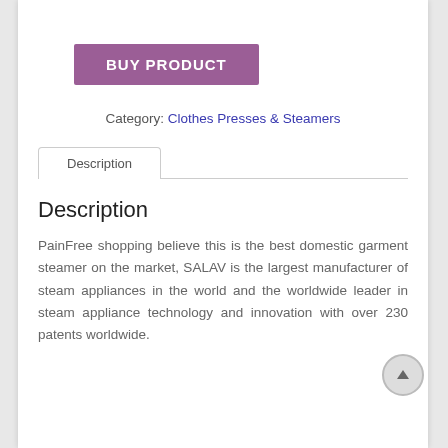BUY PRODUCT
Category: Clothes Presses & Steamers
Description
Description
PainFree shopping believe this is the best domestic garment steamer on the market, SALAV is the largest manufacturer of steam appliances in the world and the worldwide leader in steam appliance technology and innovation with over 230 patents worldwide.